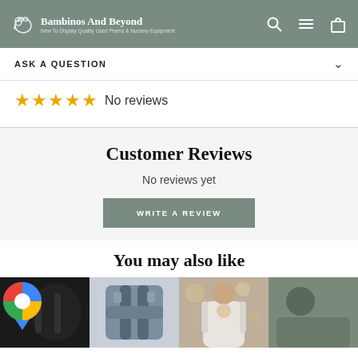Bambinos And Beyond — New To Display Quality Used Prams & Nursery Equipment
ASK A QUESTION
☆☆☆☆☆ No reviews
Customer Reviews
No reviews yet
WRITE A REVIEW
You may also like
[Figure (photo): Three product thumbnails: a baby carrier in black with a Google Maps icon overlay, a grey/blue baby harness carrier, and a man holding a baby in a white carrier]